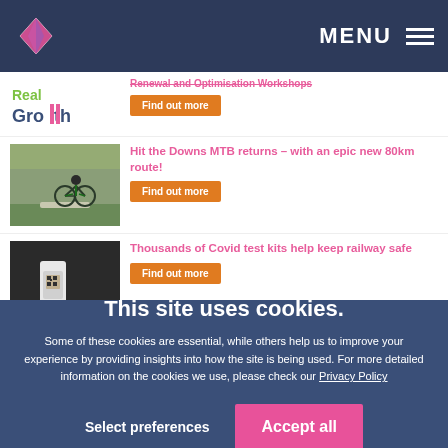MENU
Renewal and Optimisation Workshops
Find out more
Hit the Downs MTB returns – with an epic new 80km route!
Find out more
Thousands of Covid test kits help keep railway safe
Find out more
This site uses cookies.
Some of these cookies are essential, while others help us to improve your experience by providing insights into how the site is being used. For more detailed information on the cookies we use, please check our Privacy Policy
Select preferences
Accept all